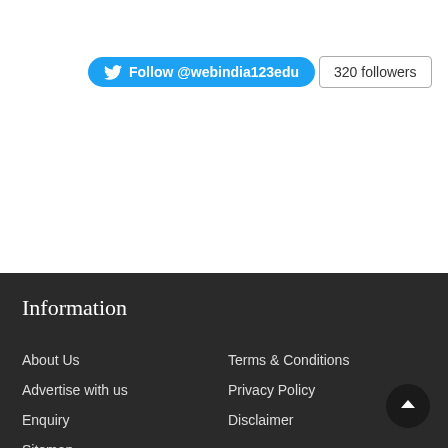[Figure (other): Twitter Follow button widget showing 'Follow @webindia123edu' with Twitter bird logo and '320 followers' counter badge]
Information
About Us
Advertise with us
Enquiry
Sitemap
Terms & Conditions
Privacy Policy
Disclaimer